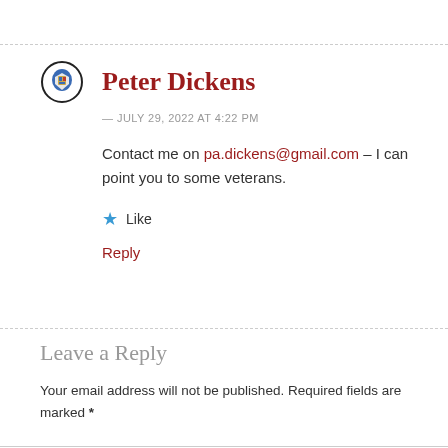Peter Dickens
— JULY 29, 2022 AT 4:22 PM
Contact me on pa.dickens@gmail.com – I can point you to some veterans.
Like
Reply
Leave a Reply
Your email address will not be published. Required fields are marked *